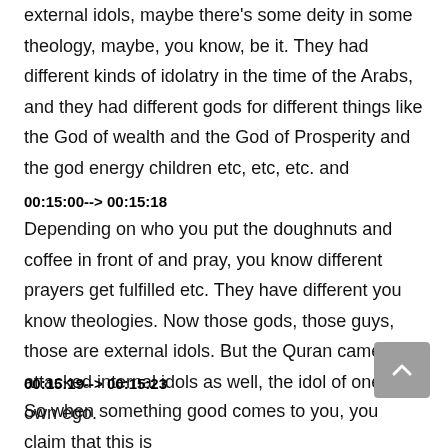external idols, maybe there's some deity in some theology, maybe, you know, be it. They had different kinds of idolatry in the time of the Arabs, and they had different gods for different things like the God of wealth and the God of Prosperity and the god energy children etc, etc, etc. and
00:15:00--> 00:15:18
Depending on who you put the doughnuts and coffee in front of and pray, you know different prayers get fulfilled etc. They have different you know theologies. Now those gods, those guys, those are external idols. But the Quran came and attacked internal idols as well, the idol of one's own ego.
00:15:19--> 00:15:23
So when something good comes to you, you claim that this is